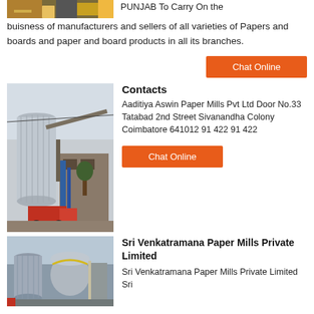[Figure (photo): Partial view of an industrial/factory setting with yellow equipment visible]
PUNJAB To Carry On the buisness of manufacturers and sellers of all varieties of Papers and boards and paper and board products in all its branches.
Chat Online
[Figure (photo): Industrial paper mill facility with large silo tower and conveyor structures]
Contacts
Aaditiya Aswin Paper Mills Pvt Ltd Door No.33 Tatabad 2nd Street Sivanandha Colony Coimbatore 641012 91 422 91 422
Chat Online
[Figure (photo): Industrial machinery/equipment at paper mill, large grey cylindrical structures]
Sri Venkatramana Paper Mills Private Limited
Sri Venkatramana Paper Mills Private Limited Sri